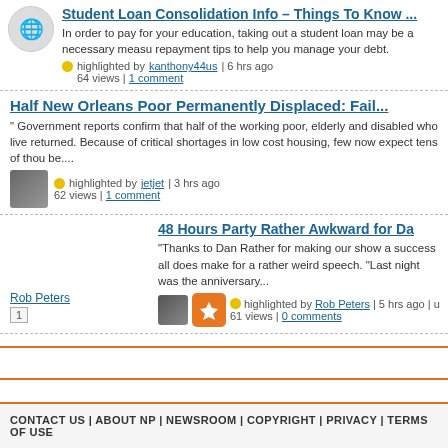Student Loan Consolidation Info – Things To Know ...
In order to pay for your education, taking out a student loan may be a necessary measure. repayment tips to help you manage your debt.
highlighted by kanthony44us | 6 hrs ago
64 views | 1 comment
Half New Orleans Poor Permanently Displaced: Fail...
" Government reports confirm that half of the working poor, elderly and disabled who live returned. Because of critical shortages in low cost housing, few now expect tens of thousands be....
highlighted by jetjet | 3 hrs ago
62 views | 1 comment
48 Hours Party Rather Awkward for Da
"Thanks to Dan Rather for making our show a success all does make for a rather weird speech. "Last night was the anniversary...
highlighted by Rob Peters | 5 hrs ago | u
61 views | 0 comments
Rob Peters
CONTACT US | ABOUT NP | NEWSROOM | COPYRIGHT | PRIVACY | TERMS OF USE